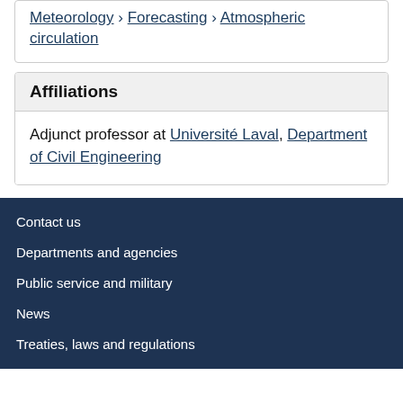Meteorology › Forecasting › Atmospheric circulation
Affiliations
Adjunct professor at Université Laval, Department of Civil Engineering
Contact us | Departments and agencies | Public service and military | News | Treaties, laws and regulations